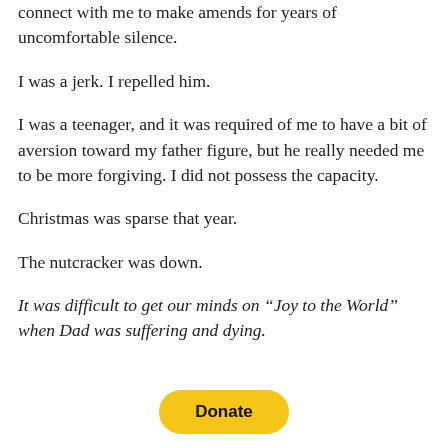connect with me to make amends for years of uncomfortable silence.
I was a jerk. I repelled him.
I was a teenager, and it was required of me to have a bit of aversion toward my father figure, but he really needed me to be more forgiving. I did not possess the capacity.
Christmas was sparse that year.
The nutcracker was down.
It was difficult to get our minds on “Joy to the World” when Dad was suffering and dying.
[Figure (other): Donate button (PayPal-style yellow rounded button with bold text 'Donate')]